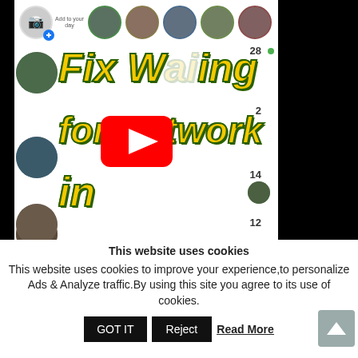[Figure (screenshot): Screenshot of a Facebook-like app stories bar and a YouTube video thumbnail showing 'Fix Waiting for Network in' in large yellow text over a social media feed background, with a YouTube play button overlay. Black bars on left and right. Side avatars with numbers 28, 2, 14, 12 visible.]
This website uses cookies
This website uses cookies to improve your experience,to personalize Ads & Analyze traffic.By using this site you agree to its use of cookies.
GOT IT   Reject   Read More